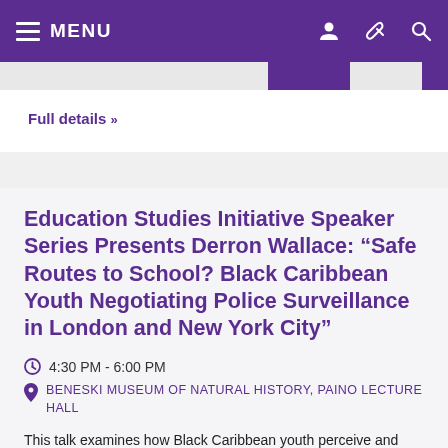MENU
Full details »
Education Studies Initiative Speaker Series Presents Derron Wallace: “Safe Routes to School? Black Caribbean Youth Negotiating Police Surveillance in London and New York City”
4:30 PM - 6:00 PM
BENESKI MUSEUM OF NATURAL HISTORY, PAINO LECTURE HALL
This talk examines how Black Caribbean youth perceive and experience the state-endorsed "Stop and Search"